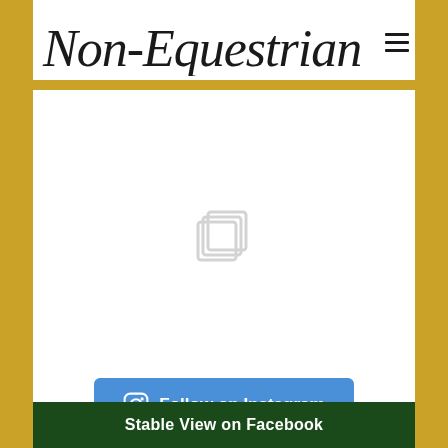Non-Equestrian
[Figure (screenshot): Instagram feed placeholder with stacked layers icon, indicating loading or empty Instagram embed]
Follow on Instagram
Stable View on Facebook